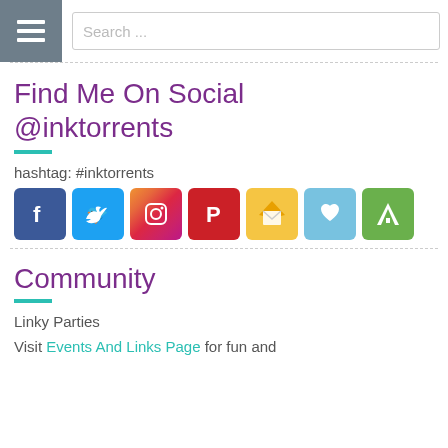Search ...
Find Me On Social @inktorrents
hashtag: #inktorrents
[Figure (infographic): Row of 7 social media icons: Facebook (blue f), Twitter (blue bird), Instagram (camera), Pinterest (red P), Email (envelope), Bloglovin (blue heart), Feedly (green tag)]
Community
Linky Parties
Visit Events And Links Page for fun and